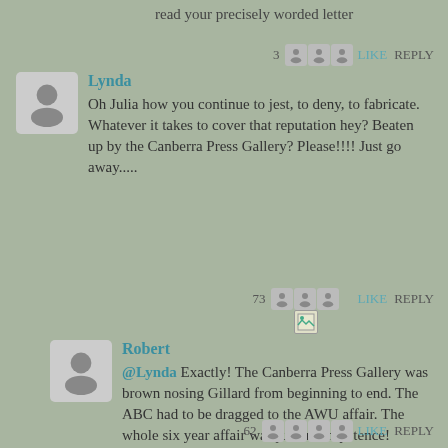read your precisely worded letter
3  LIKE  REPLY
Lynda
Oh Julia how you continue to jest, to deny, to fabricate. Whatever it takes to cover that reputation hey? Beaten up by the Canberra Press Gallery? Please!!!! Just go away.....
73  LIKE  REPLY
Robert
@Lynda Exactly! The Canberra Press Gallery was brown nosing Gillard from beginning to end. The ABC had to be dragged to the AWU affair. The whole six year affair was just incompetence!
62  LIKE  REPLY